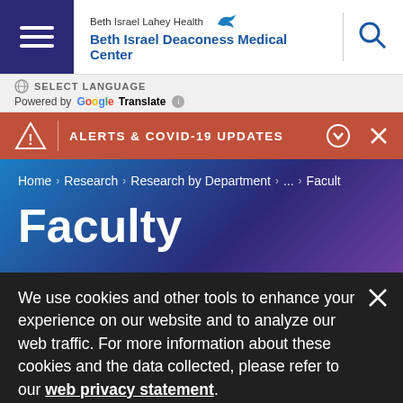[Figure (screenshot): Beth Israel Lahey Health / Beth Israel Deaconess Medical Center website header with hamburger menu, logo, and search icon]
SELECT LANGUAGE
Powered by Google Translate
ALERTS & COVID-19 UPDATES
Home > Research > Research by Department > ... > Facult
Faculty
We use cookies and other tools to enhance your experience on our website and to analyze our web traffic. For more information about these cookies and the data collected, please refer to our web privacy statement.
More Within Kocsis Lab